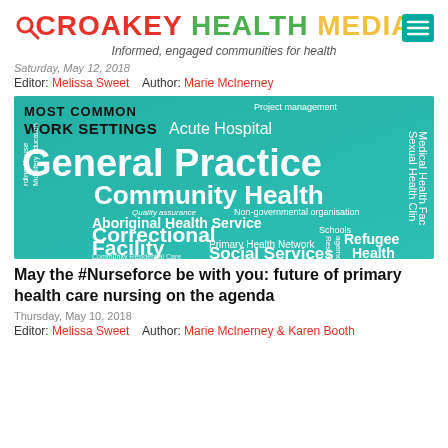CROAKEY HEALTH MEDIA — Informed, engaged communities for health
Saturday, May 12, 2018
Editor: Melissa Sweet   Author: Marie McInerney
[Figure (infographic): Word cloud on teal/green background showing most common work settings for nurses: General Practice (largest), Community Health, Correctional Facility, Aboriginal Health Service, Social Services, Acute Hospital, Primary Health Network, Non-governmental organisation, Refugee Health, Research, Schools, Medical Health Clinic, Sexual Health Clinic, Boarding House, Quality assurance, Project management, Community Residential Care, Midwifery Education]
May the #Nurseforce be with you: future of primary health care nursing on the agenda
Thursday, May 10, 2018
Editor: Melissa Sweet   Author: Marie McInerney & Karen Booth